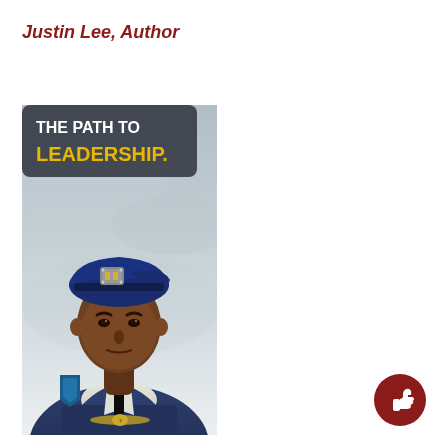Justin Lee, Author
[Figure (photo): Book cover for 'The Path to Leadership' showing a military officer in dress uniform wearing a blue beret with rank insignia, against a grey sky background. The title text 'THE PATH TO LEADERSHIP.' appears in a dark rounded rectangle at the top, with 'THE PATH TO' in white and 'LEADERSHIP.' in yellow/gold.]
[Figure (illustration): A circular dark red like/thumbs-up button icon in the bottom right corner.]